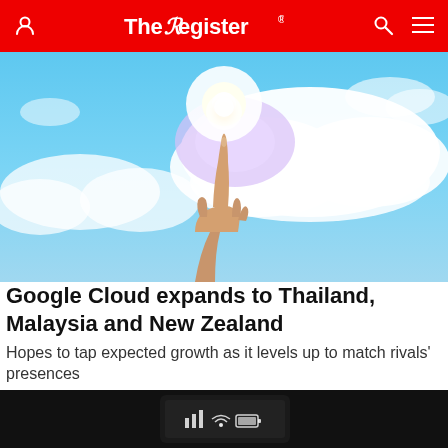The Register
[Figure (photo): A hand pointing upward toward a glowing light in a cloud against a blue sky]
Google Cloud expands to Thailand, Malaysia and New Zealand
Hopes to tap expected growth as it levels up to match rivals' presences
OFF-PREM   16 days |
[Figure (photo): Dark background showing a phone or device screen with signal/wifi/battery icons]